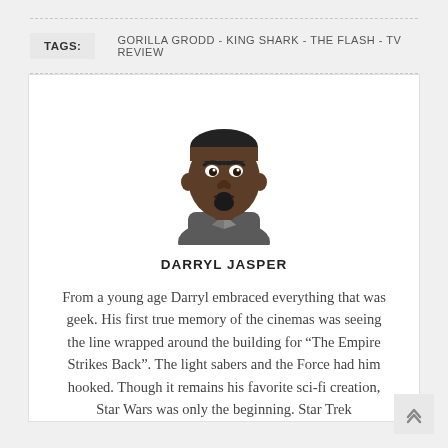TAGS:  GORILLA GRODD - KING SHARK - THE FLASH - TV REVIEW
[Figure (illustration): Cartoon avatar of a dark-skinned man with short hair, goatee, and a grey collared shirt]
DARRYL JASPER
From a young age Darryl embraced everything that was geek. His first true memory of the cinemas was seeing the line wrapped around the building for “The Empire Strikes Back”. The light sabers and the Force had him hooked. Though it remains his favorite sci-fi creation, Star Wars was only the beginning. Star Trek